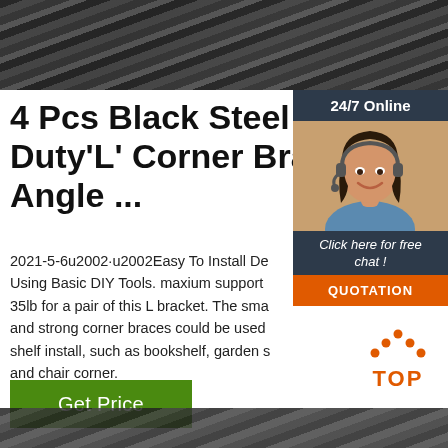[Figure (photo): Closeup photo of black steel rods or bars on a metallic surface]
4 Pcs Black Steel Heavy Duty'L' Corner Brace Joint Angle ...
2021-5-6u2002·u2002Easy To Install Design Using Basic DIY Tools. maxium support 35lb for a pair of this L bracket. The small and strong corner braces could be used shelf install, such as bookshelf, garden s... and chair corner.
[Figure (photo): 24/7 Online chat widget with a woman wearing a headset, and a QUOTATION button]
Get Price
[Figure (logo): TOP logo with orange dots arranged in a triangle above the word TOP]
[Figure (photo): Bottom partial image of steel rods/bars]